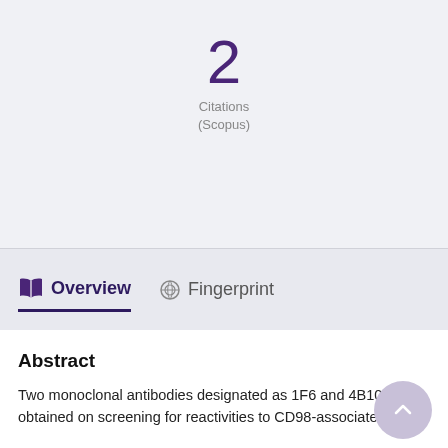2
Citations
(Scopus)
Overview
Fingerprint
Abstract
Two monoclonal antibodies designated as 1F6 and 4B10 were obtained on screening for reactivities to CD98-associated